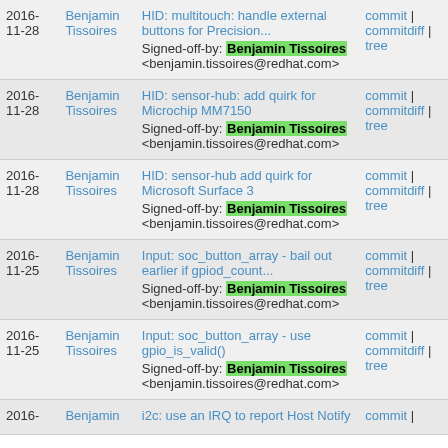| Date | Author | Commit | Links |
| --- | --- | --- | --- |
| 2016-11-28 | Benjamin Tissoires | HID: multitouch: handle external buttons for Precision...
Signed-off-by: Benjamin Tissoires <benjamin.tissoires@redhat.com> | commit | commitdiff | tree |
| 2016-11-28 | Benjamin Tissoires | HID: sensor-hub: add quirk for Microchip MM7150
Signed-off-by: Benjamin Tissoires <benjamin.tissoires@redhat.com> | commit | commitdiff | tree |
| 2016-11-28 | Benjamin Tissoires | HID: sensor-hub add quirk for Microsoft Surface 3
Signed-off-by: Benjamin Tissoires <benjamin.tissoires@redhat.com> | commit | commitdiff | tree |
| 2016-11-25 | Benjamin Tissoires | Input: soc_button_array - bail out earlier if gpiod_count...
Signed-off-by: Benjamin Tissoires <benjamin.tissoires@redhat.com> | commit | commitdiff | tree |
| 2016-11-25 | Benjamin Tissoires | Input: soc_button_array - use gpio_is_valid()
Signed-off-by: Benjamin Tissoires <benjamin.tissoires@redhat.com> | commit | commitdiff | tree |
| 2016- | Benjamin | i2c: use an IRQ to report Host Notify | commit | |